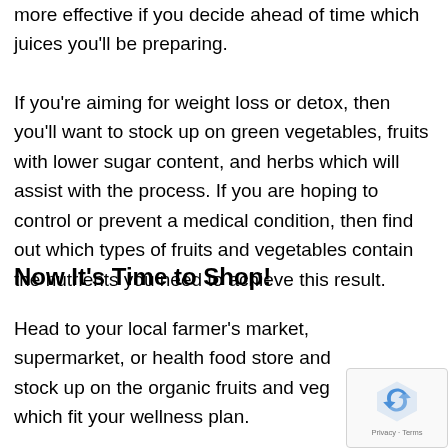more effective if you decide ahead of time which juices you'll be preparing.
If you're aiming for weight loss or detox, then you'll want to stock up on green vegetables, fruits with lower sugar content, and herbs which will assist with the process. If you are hoping to control or prevent a medical condition, then find out which types of fruits and vegetables contain the nutrients you need to achieve this result.
Now It's Time to Shop!
Head to your local farmer's market, supermarket, or health food store and stock up on the organic fruits and veg which fit your wellness plan.